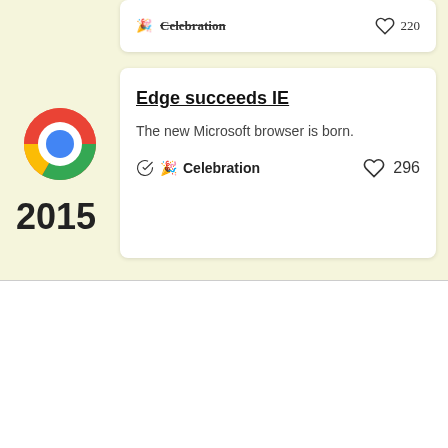Celebration  220
[Figure (logo): Google Chrome logo - circular with red, yellow, green segments and blue center]
Edge succeeds IE
The new Microsoft browser is born.
🎉 Celebration  296
2015
We serve cookies on this site to analyze traffic, remember your preferences, and optimize your experience.
More details  Ok, Got it.